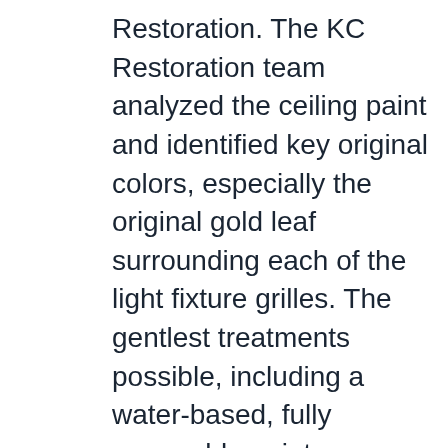Restoration. The KC Restoration team analyzed the ceiling paint and identified key original colors, especially the original gold leaf surrounding each of the light fixture grilles. The gentlest treatments possible, including a water-based, fully removable paint were used, following the Secretary of the Interior's preservation standards. Carolyn's team restored a decorated area of about 15' x 20'. Within that area, they recreated about four square feet that was irreparable. They replaced the gold leaf; and repaired areas of flaking and missing paint, often with a paint consolidation technique which requites reattaching paint flakes into their proper position, then blending all repairs so it is virtually impossible to see where their work ends and the unrestored area begins. On